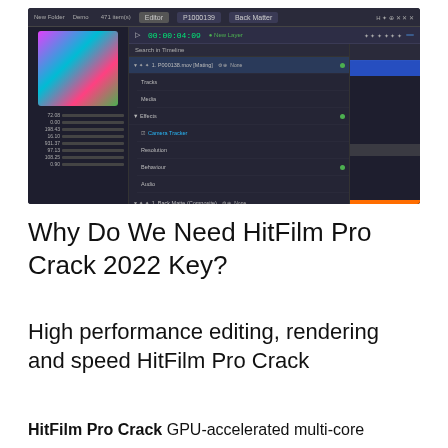[Figure (screenshot): HitFilm Pro software interface screenshot showing dark-themed video editing timeline with color grading panel, layer list including Camera Tracker and Matte effects, and a blue timeline block with orange playhead bar at bottom.]
Why Do We Need HitFilm Pro Crack 2022 Key?
High performance editing, rendering and speed HitFilm Pro Crack
HitFilm Pro Crack GPU-accelerated multi-core